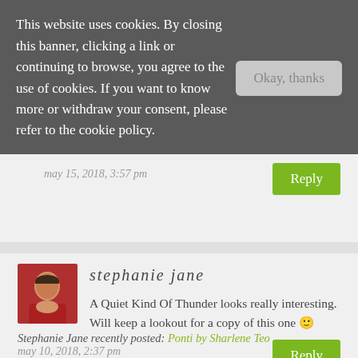This website uses cookies. By closing this banner, clicking a link or continuing to browse, you agree to the use of cookies. If you want to know more or withdraw your consent, please refer to the cookie policy.
Okay, thanks
may 15, 2018, 3:57 pm
Reply
stephanie jane
A Quiet Kind Of Thunder looks really interesting. Will keep a lookout for a copy of this one 🙂
Stephanie Jane recently posted: Ponti by Sharlene Teo
may 10, 2018, 2:37 pm
Reply